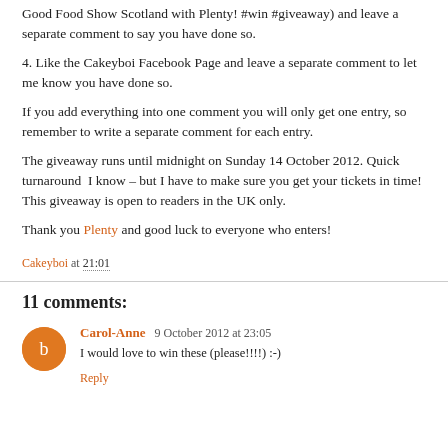Good Food Show Scotland with Plenty! #win #giveaway) and leave a separate comment to say you have done so.
4. Like the Cakeyboi Facebook Page and leave a separate comment to let me know you have done so.
If you add everything into one comment you will only get one entry, so remember to write a separate comment for each entry.
The giveaway runs until midnight on Sunday 14 October 2012. Quick turnaround  I know – but I have to make sure you get your tickets in time! This giveaway is open to readers in the UK only.
Thank you Plenty and good luck to everyone who enters!
Cakeyboi at 21:01
11 comments:
Carol-Anne 9 October 2012 at 23:05
I would love to win these (please!!!!) :-)
Reply